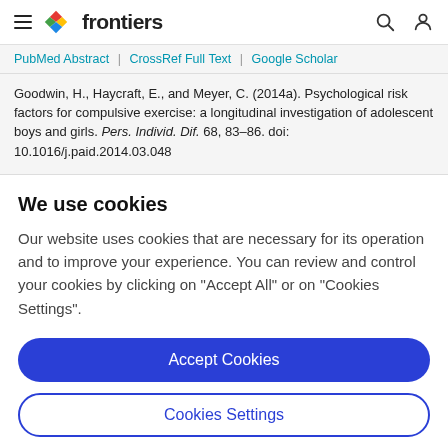frontiers
PubMed Abstract | CrossRef Full Text | Google Scholar
Goodwin, H., Haycraft, E., and Meyer, C. (2014a). Psychological risk factors for compulsive exercise: a longitudinal investigation of adolescent boys and girls. Pers. Individ. Dif. 68, 83–86. doi: 10.1016/j.paid.2014.03.048
We use cookies
Our website uses cookies that are necessary for its operation and to improve your experience. You can review and control your cookies by clicking on "Accept All" or on "Cookies Settings".
Accept Cookies
Cookies Settings